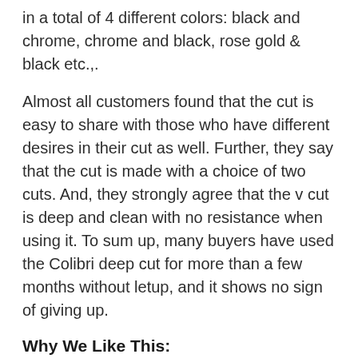in a total of 4 different colors: black and chrome, chrome and black, rose gold & black etc.,.
Almost all customers found that the cut is easy to share with those who have different desires in their cut as well. Further, they say that the cut is made with a choice of two cuts. And, they strongly agree that the v cut is deep and clean with no resistance when using it. To sum up, many buyers have used the Colibri deep cut for more than a few months without letup, and it shows no sign of giving up.
Why We Like This:
Good investment for the long term.
Delivers what they promise.
Best Reasons the Colibri Cutter